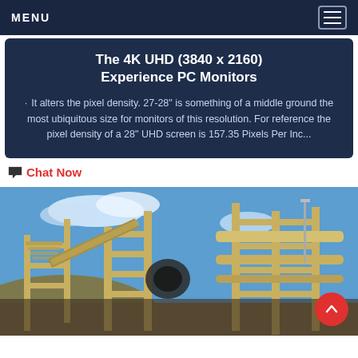MENU
The 4K UHD (3840 x 2160) Experience PC Monitors
It alters the pixel density. 27-28" is something of a middle ground the most ubiquitous size for monitors of this resolution. For reference the pixel density of a 28" UHD screen is 157.35 Pixels Per Inc...
Chat Now
[Figure (photo): Industrial mining or processing facility with yellow steel structures, staircases, conveyor systems, machinery, and pipes against a blue sky.]